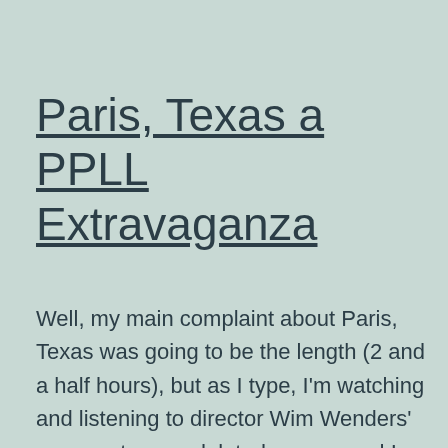Paris, Texas a PPLL Extravaganza
Well, my main complaint about Paris, Texas was going to be the length (2 and a half hours), but as I type, I'm watching and listening to director Wim Wenders' commentary on deleted scenes and I am transfixed with hypnotic awe. Except for the older vehicles, Pars, Texas (circa 1984) could be shown today. It's… Continue reading